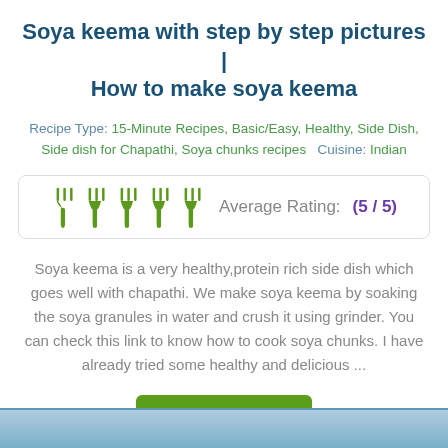Soya keema with step by step pictures | How to make soya keema
Recipe Type: 15-Minute Recipes, Basic/Easy, Healthy, Side Dish, Side dish for Chapathi, Soya chunks recipes   Cuisine: Indian
[Figure (other): Rating widget showing 5 green fork icons and text 'Average Rating: (5 / 5)']
Soya keema is a very healthy,protein rich side dish which goes well with chapathi. We make soya keema by soaking the soya granules in water and crush it using grinder. You can check this link to know how to cook soya chunks. I have already tried some healthy and delicious ...
Read more
[Figure (photo): Partial blue image strip at bottom of page]